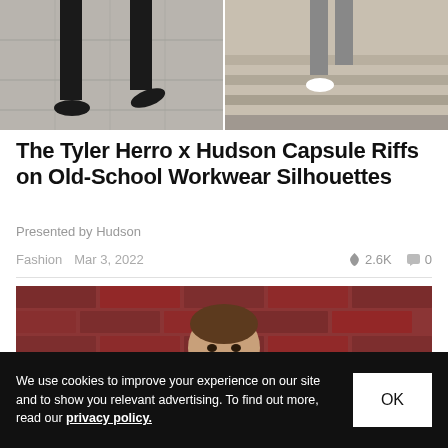[Figure (photo): Two fashion photos side by side: left shows person's legs in black pants and dark shoes on a paved surface; right shows person running up steps in grey pants and white sneakers]
The Tyler Herro x Hudson Capsule Riffs on Old-School Workwear Silhouettes
Presented by Hudson
Fashion   Mar 3, 2022   🔥 2.6K   💬 0
[Figure (photo): Portrait photo of a man with a shaved head in front of a red brick wall]
We use cookies to improve your experience on our site and to show you relevant advertising. To find out more, read our privacy policy.